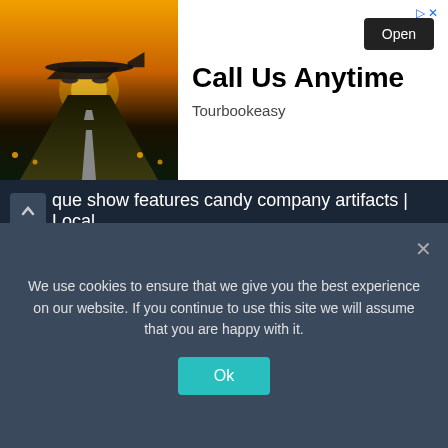[Figure (screenshot): Advertisement banner: airplane on runway at sunset with 'Call Us Anytime' text, Tourbookeasy branding, and Open button]
que show features candy company artifacts | Local
1 min ago
Aaron Wealth Advisors LLC Makes New $773,000 Investment in American Airlines Group Inc. (NASDAQ:AAL)
2 mins ago
The Jeff Bezos-Backed Real Estate Company Is On A Buying Spree For Single-Family Homes
5 mins ago
Married women's property act: Gift your wife an exclusive term insurance policy
We use cookies to ensure that we give you the best experience on our website. If you continue to use this site we will assume that you are happy with it.